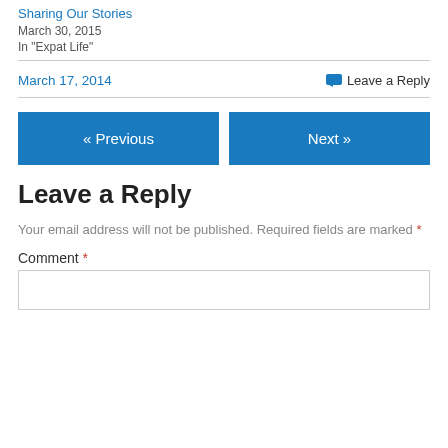Sharing Our Stories
March 30, 2015
In "Expat Life"
March 17, 2014
Leave a Reply
« Previous
Next »
Leave a Reply
Your email address will not be published. Required fields are marked *
Comment *